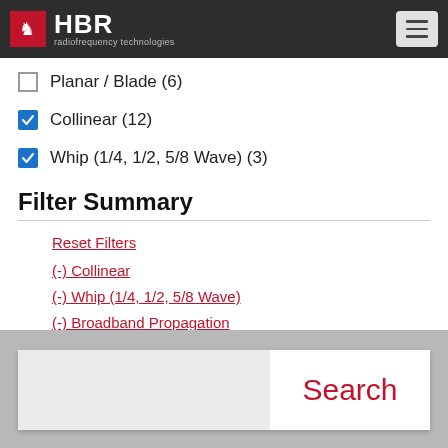HBR radiofrequency technologies
Planar / Blade (6)
Collinear (12)
Whip (1/4, 1/2, 5/8 Wave) (3)
Filter Summary
Reset Filters
(-) Collinear
(-) Whip (1/4, 1/2, 5/8 Wave)
(-) Broadband Propagation
(-) PCTEL
Search